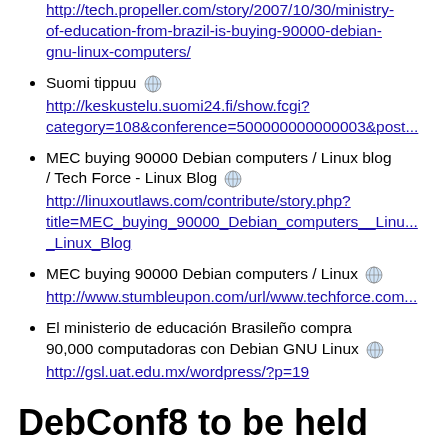http://tech.propeller.com/story/2007/10/30/ministry-of-education-from-brazil-is-buying-90000-debian-gnu-linux-computers/
Suomi tippuu [globe] http://keskustelu.suomi24.fi/show.fcgi?category=108&conference=500000000000003&post...
MEC buying 90000 Debian computers / Linux blog / Tech Force - Linux Blog [globe] http://linuxoutlaws.com/contribute/story.php?title=MEC_buying_90000_Debian_computers__Linu..._Linux_Blog
MEC buying 90000 Debian computers / Linux [globe] http://www.stumbleupon.com/url/www.techforce.com...
El ministerio de educación Brasileño compra 90,000 computadoras con Debian GNU Linux [globe] http://gsl.uat.edu.mx/wordpress/?p=19
DebConf8 to be held from August 2nd to August 17th